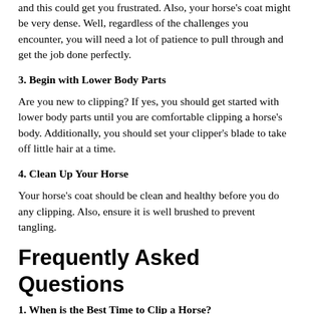and this could get you frustrated. Also, your horse's coat might be very dense. Well, regardless of the challenges you encounter, you will need a lot of patience to pull through and get the job done perfectly.
3. Begin with Lower Body Parts
Are you new to clipping? If yes, you should get started with lower body parts until you are comfortable clipping a horse's body. Additionally, you should set your clipper's blade to take off little hair at a time.
4. Clean Up Your Horse
Your horse's coat should be clean and healthy before you do any clipping. Also, ensure it is well brushed to prevent tangling.
Frequently Asked Questions
1. When is the Best Time to Clip a Horse?